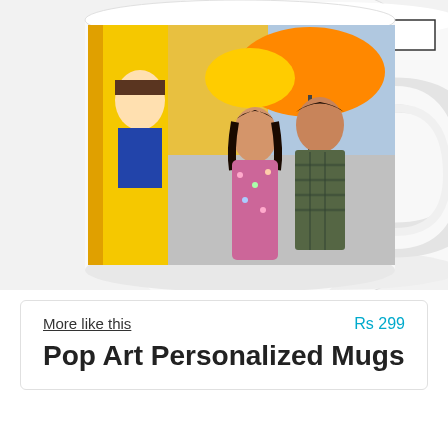[Figure (photo): Two white ceramic mugs with pop art personalized design. The front mug shows a couple (a woman in floral dress and a man in plaid shirt) holding an umbrella, with comic-book style artwork panels on the mug including speech bubbles with text fragments 'MUCH!', 'NEY I', 'OU', 'THANKS HON', 'I LOVE YOU', 'TOO'. The back mug is slightly behind and shows similar pop art comic couple design.]
More like this
Rs 299
Pop Art Personalized Mugs